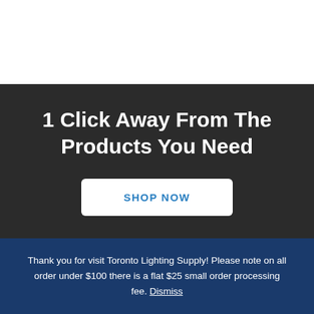1 Click Away From The Products You Need
SHOP NOW
Thank you for visit Toronto Lighting Supply! Please note on all order under $100 there is a flat $25 small order processing fee. Dismiss